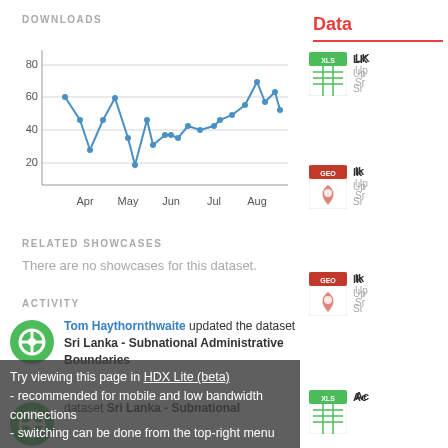DOWNLOADS
[Figure (line-chart): Downloads]
RELATED SHOWCASES
There are no showcases for this dataset.
ACTIVITY
Tom Haythornthwaite updated the dataset Sri Lanka - Subnational Administrative Boundaries
Try viewing this page in HDX Lite (beta) - recommended for mobile and low bandwidth connections - switching can be done from the top-right menu
Data
[Figure (other): XLS file icon]
LK Up Sr
[Figure (other): GEO file icon]
lk Up Sr
[Figure (other): GEO file icon]
lk Up Sr
[Figure (other): XLS file icon]
Ac